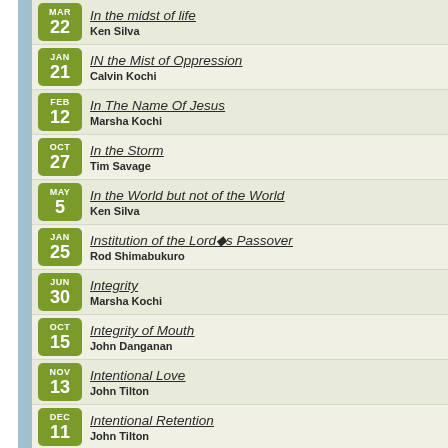MAR 22 — In the midst of life — Ken Silva
JAN 21 — IN the Mist of Oppression — Calvin Kochi
FEB 12 — In The Name Of Jesus — Marsha Kochi
OCT 27 — In the Storm — Tim Savage
MAY 5 — In the World but not of the World — Ken Silva
JAN 25 — Institution of the Lord's Passover — Rod Shimabukuro
JUN 30 — Integrity — Marsha Kochi
OCT 15 — Integrity of Mouth — John Danganan
NOV 13 — Intentional Love — John Tilton
DEC 11 — Intentional Retention — John Tilton
MAR 24 — Intentional Training — Kyle Lum